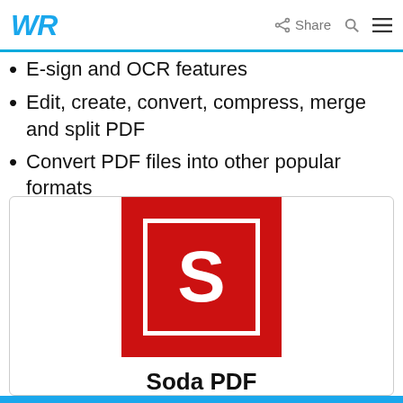WR | Share [search] [menu]
E-sign and OCR features
Edit, create, convert, compress, merge and split PDF
Convert PDF files into other popular formats
Also available in the Cloud
[Figure (logo): Soda PDF logo: red square background with white inner square border and white letter S, with 'Soda PDF' text below]